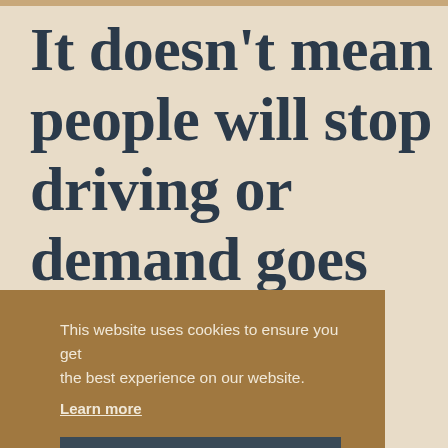It doesn't mean people will stop driving or demand goes down. But
This website uses cookies to ensure you get the best experience on our website. Learn more
Got it!